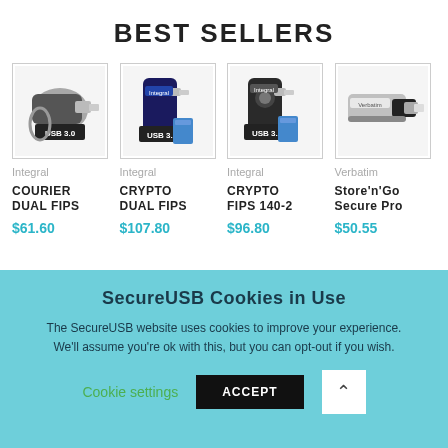BEST SELLERS
[Figure (photo): Integral USB 3.0 flash drive - Courier Dual FIPS]
[Figure (photo): Integral USB 3.0 flash drive - Crypto Dual FIPS]
[Figure (photo): Integral USB 3.0 flash drive - Crypto FIPS 140-2]
[Figure (photo): Verbatim flash drive - Store'n'Go Secure Pro]
Integral
COURIER DUAL FIPS
$61.60
Integral
CRYPTO DUAL FIPS
$107.80
Integral
CRYPTO FIPS 140-2
$96.80
Verbatim
Store'n'Go Secure Pro
$50.55
SecureUSB Cookies in Use
The SecureUSB website uses cookies to improve your experience. We'll assume you're ok with this, but you can opt-out if you wish.
Cookie settings   ACCEPT